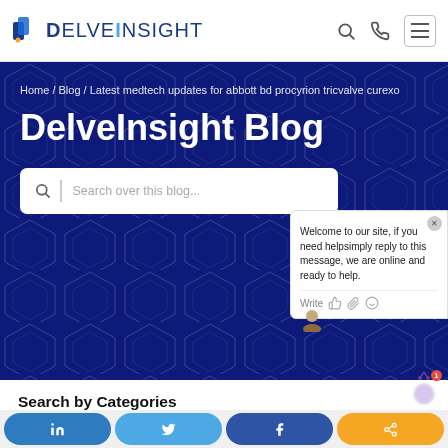[Figure (logo): DelveInsight logo with blue D icon and orange dot on i]
Home / Blog / Latest medtech updates for abbott bd procyrion tricvalve curexo
DelveInsight Blog
Search over this blog...
Welcome to our site, if you need helpsimply reply to this message, we are online and ready to help.
Write
Search by Categories